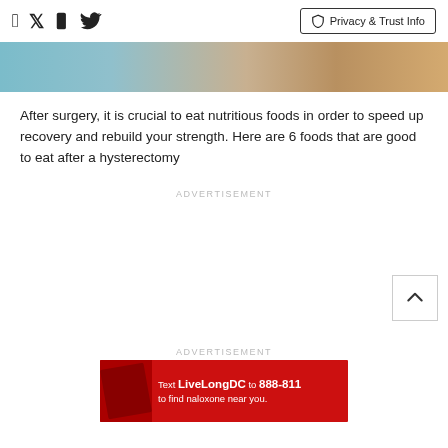Facebook icon, Twitter icon, Privacy & Trust Info
[Figure (photo): Top portion of a food/medical related image cropped at the top of the page]
After surgery, it is crucial to eat nutritious foods in order to speed up recovery and rebuild your strength. Here are 6 foods that are good to eat after a hysterectomy
ADVERTISEMENT
ADVERTISEMENT
[Figure (photo): Red advertisement banner: Text LiveLongDC to 888-811 to find naloxone near you. DBH logo.]